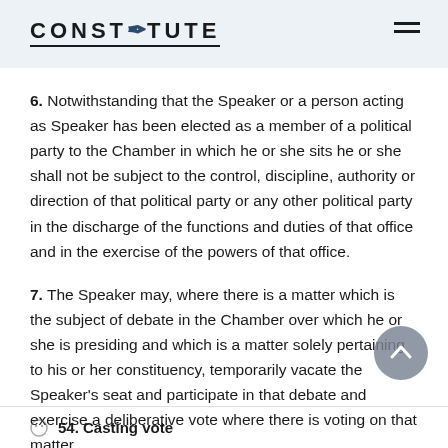CONSTITUTE
6. Notwithstanding that the Speaker or a person acting as Speaker has been elected as a member of a political party to the Chamber in which he or she sits he or she shall not be subject to the control, discipline, authority or direction of that political party or any other political party in the discharge of the functions and duties of that office and in the exercise of the powers of that office.
7. The Speaker may, where there is a matter which is the subject of debate in the Chamber over which he or she is presiding and which is a matter solely pertaining to his or her constituency, temporarily vacate the Speaker's seat and participate in that debate and exercise a deliberative vote where there is voting on that matter.
54. Casting vote